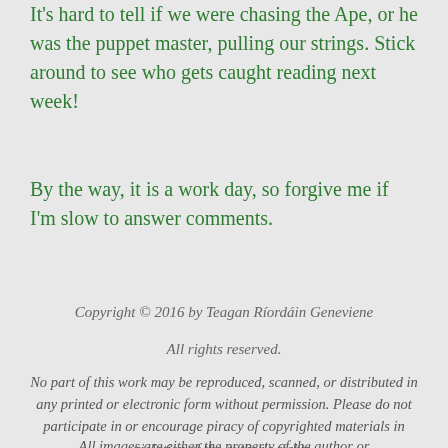It's hard to tell if we were chasing the Ape, or he was the puppet master, pulling our strings.  Stick around to see who gets caught reading next week!
By the way, it is a work day, so forgive me if I'm slow to answer comments.
Copyright © 2016 by Teagan Ríordáin Geneviene
All rights reserved.
No part of this work may be reproduced, scanned, or distributed in any printed or electronic form without permission.  Please do not participate in or encourage piracy of copyrighted materials in violation of the author's rights.
All images are either the property of the author or